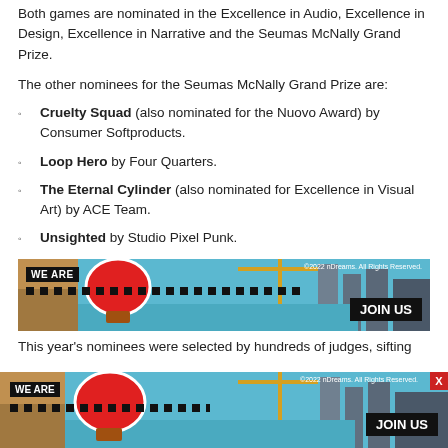Both games are nominated in the Excellence in Audio, Excellence in Design, Excellence in Narrative and the Seumas McNally Grand Prize.
The other nominees for the Seumas McNally Grand Prize are:
Cruelty Squad (also nominated for the Nuovo Award) by Consumer Softproducts.
Loop Hero by Four Quarters.
The Eternal Cylinder (also nominated for Excellence in Visual Art) by ACE Team.
Unsighted by Studio Pixel Punk.
[Figure (photo): Advertisement banner showing a colorful 3D city scene with a hot air balloon, cranes, and waterway. Contains 'WE ARE' badge on left and 'JOIN US' button on right with dotted bar element.]
This year's nominees were selected by hundreds of judges, sifting
[Figure (photo): Overlay advertisement banner at bottom of page showing same city scene. Contains 'WE ARE' badge, dotted bar, 'JOIN US' button, copyright text, and red X close button.]